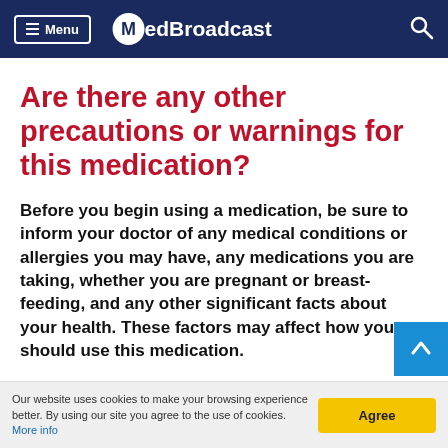Menu | MedBroadcast
Are there any other precautions or warnings for this medication?
Before you begin using a medication, be sure to inform your doctor of any medical conditions or allergies you may have, any medications you are taking, whether you are pregnant or breast-feeding, and any other significant facts about your health. These factors may affect how you should use this medication.
Our website uses cookies to make your browsing experience better. By using our site you agree to the use of cookies. More info